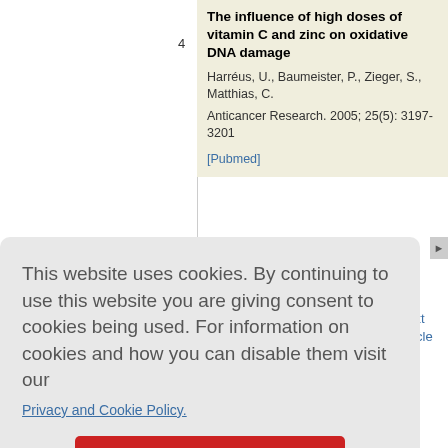[Pubmed]
4  The influence of high doses of vitamin C and zinc on oxidative DNA damage
Harréus, U., Baumeister, P., Zieger, S., Matthias, C.
Anticancer Research. 2005; 25(5): 3197-3201
[Pubmed]
This website uses cookies. By continuing to use this website you are giving consent to cookies being used. For information on cookies and how you can disable them visit our
Privacy and Cookie Policy.
AGREE & PROCEED
vious
article
Next
article